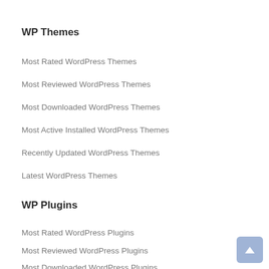WP Themes
Most Rated WordPress Themes
Most Reviewed WordPress Themes
Most Downloaded WordPress Themes
Most Active Installed WordPress Themes
Recently Updated WordPress Themes
Latest WordPress Themes
WP Plugins
Most Rated WordPress Plugins
Most Reviewed WordPress Plugins
Most Downloaded WordPress Plugins
Most Active Installed WordPress Plugins